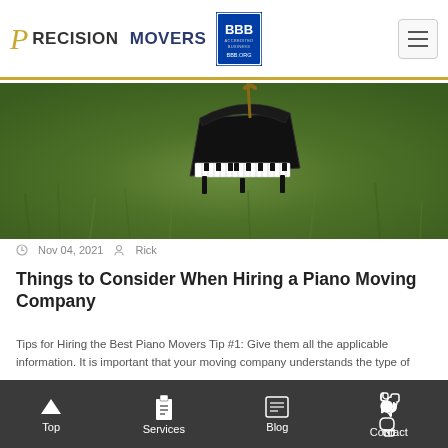Precision Movers — BBB Accredited Business
[Figure (photo): Close-up photo of a miniature grand piano ornament being held by a hand, with green grass in the background]
Nov 04, 2021   Rick
Things to Consider When Hiring a Piano Moving Company
Tips for Hiring the Best Piano Movers Tip #1: Give them all the applicable information. It is important that your moving company understands the type of piano, the
Top   Services   Blog   Contact